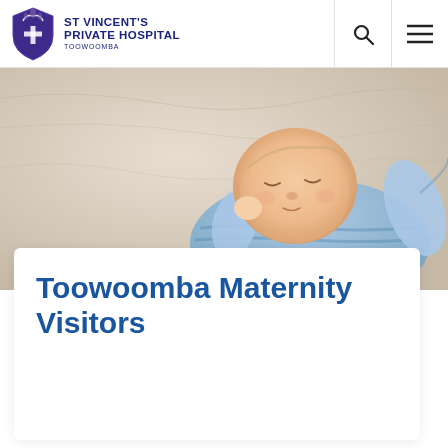ST VINCENT'S PRIVATE HOSPITAL TOOWOOMBA
[Figure (photo): Sleeping newborn baby in blue striped onesie lying on a white fluffy blanket, photographed from above at an angle]
Toowoomba Maternity Visitors